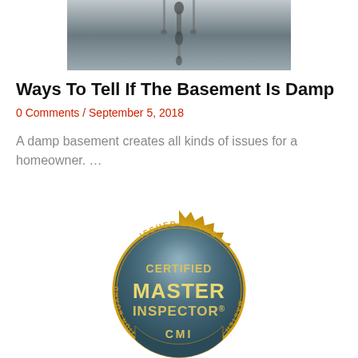[Figure (photo): Black and white photo of water dripping from a pipe or faucet, cropped at top of page]
Ways To Tell If The Basement Is Damp
0 Comments / September 5, 2018
A damp basement creates all kinds of issues for a homeowner. …
[Figure (logo): Certified Master Inspector (CMI) gold seal badge issued by the Master Inspector Certification Board]